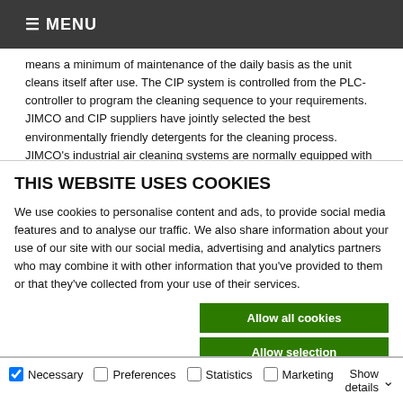≡ MENU
means a minimum of maintenance of the daily basis as the unit cleans itself after use. The CIP system is controlled from the PLC-controller to program the cleaning sequence to your requirements. JIMCO and CIP suppliers have jointly selected the best environmentally friendly detergents for the cleaning process. JIMCO's industrial air cleaning systems are normally equipped with
THIS WEBSITE USES COOKIES
We use cookies to personalise content and ads, to provide social media features and to analyse our traffic. We also share information about your use of our site with our social media, advertising and analytics partners who may combine it with other information that you've provided to them or that they've collected from your use of their services.
Allow all cookies
Allow selection
Use necessary cookies only
Necessary  Preferences  Statistics  Marketing  Show details